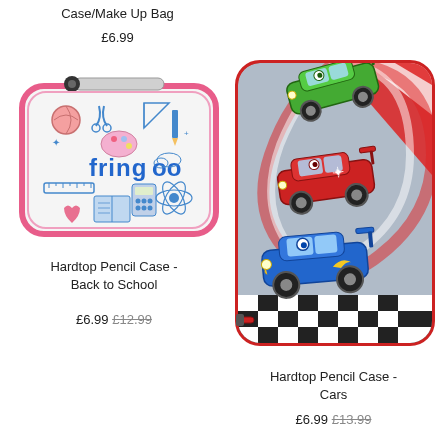Case/Make Up Bag
£6.99
[Figure (photo): Hardtop pencil case with fringoo branding and school-themed doodles on white background with pink zipper]
Hardtop Pencil Case - Back to School
£6.99 £12.99
[Figure (photo): Hardtop pencil case featuring three cartoon racing cars (green, red, blue) on grey background with red and white swirl, checkered flag bottom, red zipper]
Hardtop Pencil Case - Cars
£6.99 £13.99